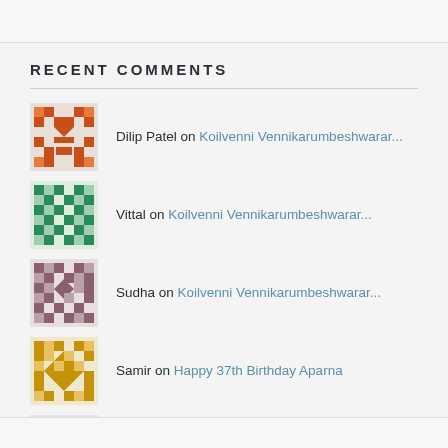RECENT COMMENTS
Dilip Patel on Koilvenni Vennikarumbeshwarar...
Vittal on Koilvenni Vennikarumbeshwarar...
Sudha on Koilvenni Vennikarumbeshwarar...
Samir on Happy 37th Birthday Aparna
mohan on Happy 37th Birthday Aparna